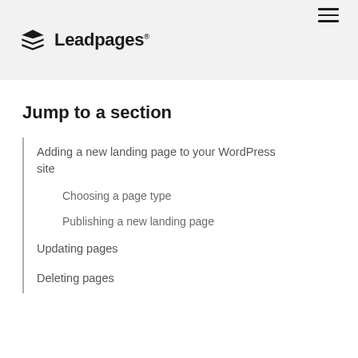Leadpages
Jump to a section
Adding a new landing page to your WordPress site
Choosing a page type
Publishing a new landing page
Updating pages
Deleting pages